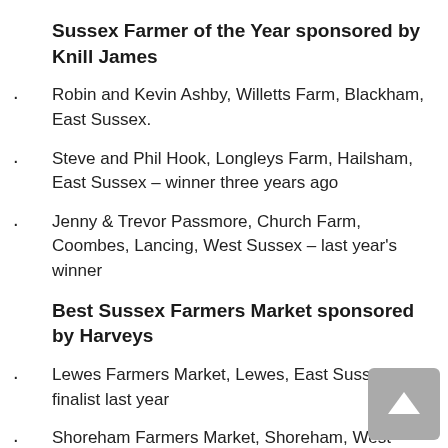Sussex Farmer of the Year sponsored by Knill James
Robin and Kevin Ashby, Willetts Farm, Blackham, East Sussex.
Steve and Phil Hook, Longleys Farm, Hailsham, East Sussex – winner three years ago
Jenny & Trevor Passmore, Church Farm, Coombes, Lancing, West Sussex – last year's winner
Best Sussex Farmers Market sponsored by Harveys
Lewes Farmers Market, Lewes, East Sussex – finalist last year
Shoreham Farmers Market, Shoreham, West Sussex –